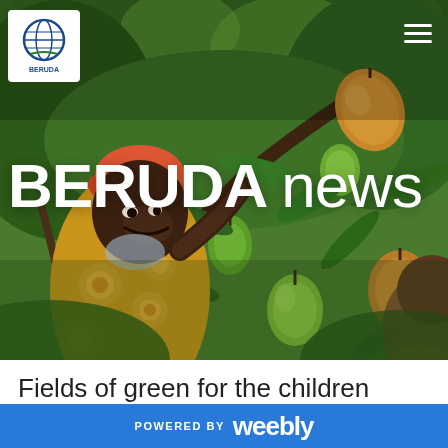[Figure (photo): A smiling African man in a yellow patterned shirt picking mangoes from a mango tree in a lush green orchard. Mangoes hang visibly from branches. Background shows green tropical foliage.]
BERUDA logo and hamburger menu
BERUDA news
Fields of green for the children
POWERED BY weebly